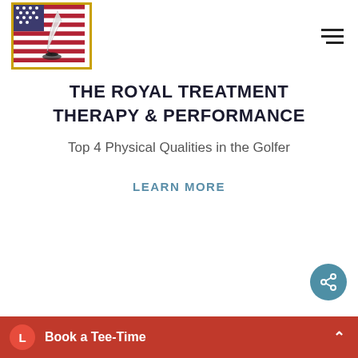[Figure (logo): American flag with a quill/pen and golf hole overlay, inside a gold-bordered square box — logo for The Royal Treatment Therapy & Performance]
THE ROYAL TREATMENT THERAPY & PERFORMANCE
Top 4 Physical Qualities in the Golfer
LEARN MORE
[Figure (other): Circular blue share/social icon button with share symbol]
L  Book a Tee-Time  ^